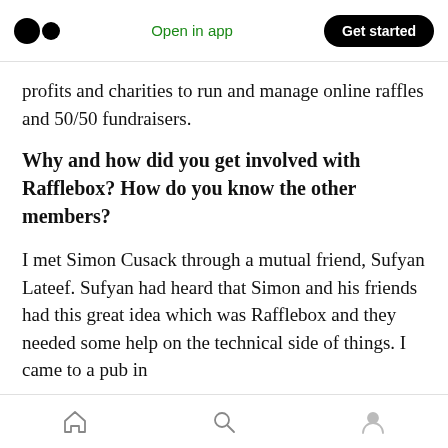Open in app  Get started
profits and charities to run and manage online raffles and 50/50 fundraisers.
Why and how did you get involved with Rafflebox? How do you know the other members?
I met Simon Cusack through a mutual friend, Sufyan Lateef. Sufyan had heard that Simon and his friends had this great idea which was Rafflebox and they needed some help on the technical side of things. I came to a pub in
Home  Search  Profile